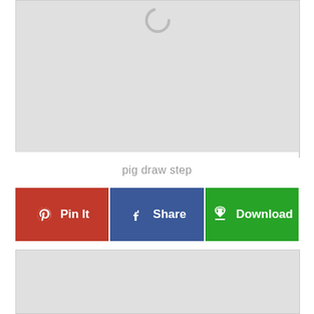[Figure (other): Loading spinner (gray circular arc) over a light gray placeholder image area]
pig draw step
[Figure (other): Toolbar with three buttons: Pin It (red, Pinterest icon), Share (blue, Facebook icon), Download (green, cloud/download icon)]
[Figure (other): Gray placeholder image area at bottom]